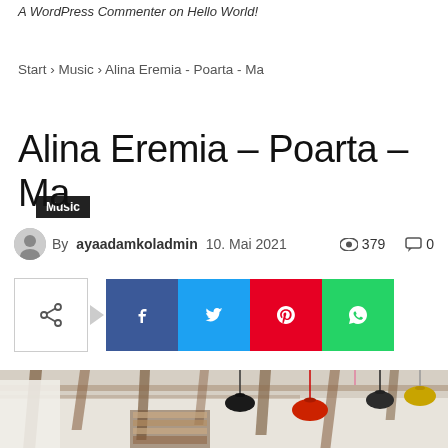A WordPress Commenter on Hello World!
Start › Music › Alina Eremia - Poarta - Ma
Music
Alina Eremia – Poarta – Ma
By ayaadamkoladmin  10. Mai 2021  379  0
[Figure (infographic): Social share buttons: native share, Facebook, Twitter, Pinterest, WhatsApp]
[Figure (photo): Interior of a modern multi-level library/loft space with wooden beams, bookshelves, and colorful hanging pendant lamps]